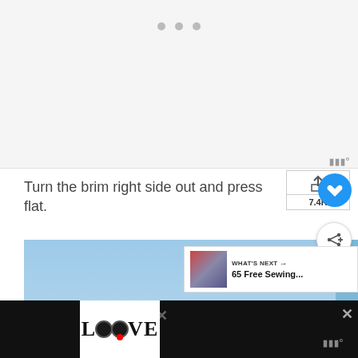[Figure (other): Gray loading/placeholder area with three dots indicating content loading]
Turn the brim right side out and press flat.
[Figure (photo): Photo of a sewn hat/brim against a blue sky background]
[Figure (other): Advertisement bar at the bottom showing LOOVE text logo]